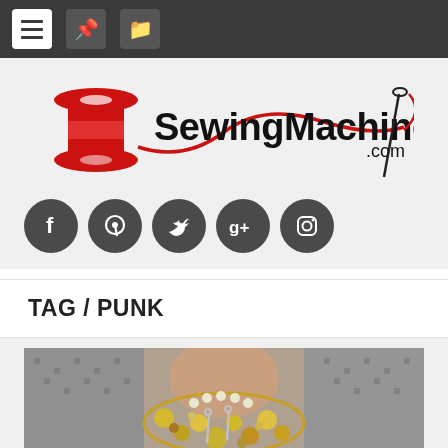Navigation bar with menu, pin, and folder icons
[Figure (logo): SewingMachinesPlus.com logo with a red spool of thread and a needle with red swoosh]
[Figure (infographic): Social media icon buttons: Facebook, Pinterest, Twitter, Google+, Instagram]
TAG / PUNK
[Figure (photo): Close-up photo of a person wearing a houndstooth jacket with a large gold chunky statement necklace with pearls and safety pins]